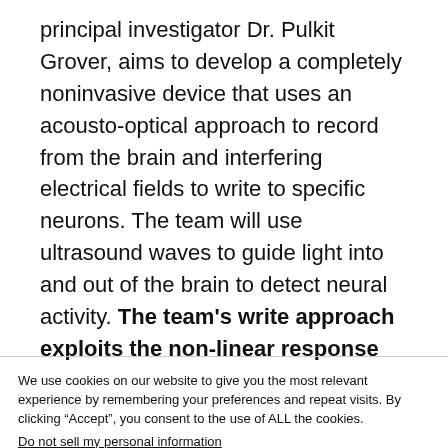principal investigator Dr. Pulkit Grover, aims to develop a completely noninvasive device that uses an acousto-optical approach to record from the brain and interfering electrical fields to write to specific neurons. The team will use ultrasound waves to guide light into and out of the brain to detect neural activity. The team's write approach exploits the non-linear response
We use cookies on our website to give you the most relevant experience by remembering your preferences and repeat visits. By clicking “Accept”, you consent to the use of ALL the cookies.
Do not sell my personal information.